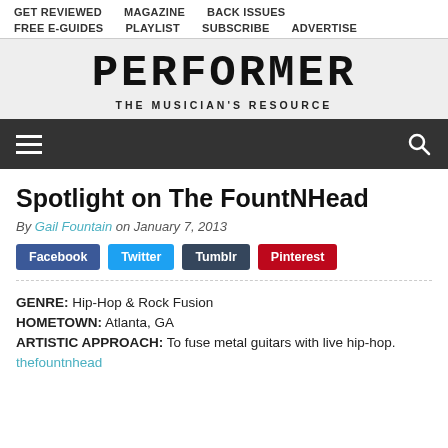GET REVIEWED   MAGAZINE   BACK ISSUES   FREE E-GUIDES   PLAYLIST   SUBSCRIBE   ADVERTISE
[Figure (logo): PERFORMER - THE MUSICIAN'S RESOURCE logo with pixel/dot style lettering on grey background]
[Figure (screenshot): Dark navigation bar with hamburger menu icon on left and search icon on right]
Spotlight on The FountNHead
By Gail Fountain on January 7, 2013
Facebook  Twitter  Tumblr  Pinterest
GENRE: Hip-Hop & Rock Fusion
HOMETOWN: Atlanta, GA
ARTISTIC APPROACH: To fuse metal guitars with live hip-hop.
thefountnhead